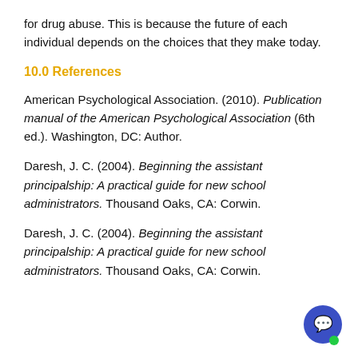for drug abuse. This is because the future of each individual depends on the choices that they make today.
10.0 References
American Psychological Association. (2010). Publication manual of the American Psychological Association (6th ed.). Washington, DC: Author.
Daresh, J. C. (2004). Beginning the assistant principalship: A practical guide for new school administrators. Thousand Oaks, CA: Corwin.
Daresh, J. C. (2004). Beginning the assistant principalship: A practical guide for new school administrators. Thousand Oaks, CA: Corwin.